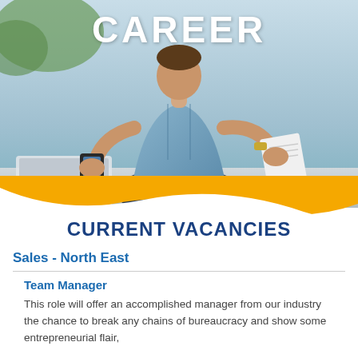[Figure (photo): Person sitting cross-legged on desk looking at phone and paper, with laptop in background; hero banner image for career page]
CAREER
CURRENT VACANCIES
Sales - North East
Team Manager
This role will offer an accomplished manager from our industry the chance to break any chains of bureaucracy and show some entrepreneurial flair,